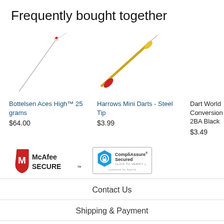Frequently bought together
Bottelsen Aces High™ 25 grams
$64.00
Harrows Mini Darts - Steel Tip
$3.99
Dart World Conversion Points 2BA Black
$3.49
Dart - Cle
$1.1
[Figure (logo): McAfee SECURE badge with red shield and M logo]
[Figure (logo): CompliAssure Secured badge with blue hexagon logo, powered by Aperia]
Contact Us
Shipping & Payment
Privacy Policy